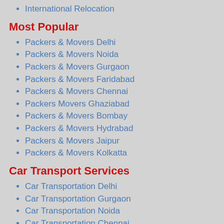International Relocation
Most Popular
Packers & Movers Delhi
Packers & Movers Noida
Packers & Movers Gurgaon
Packers & Movers Faridabad
Packers & Movers Chennai
Packers Movers Ghaziabad
Packers & Movers Bombay
Packers & Movers Hydrabad
Packers & Movers Jaipur
Packers & Movers Kolkatta
Car Transport Services
Car Transportation Delhi
Car Transportation Gurgaon
Car Transportation Noida
Car Transportation Chennai
Car Transportation Kolkata
Car Transportation Mumbai
Car Transport Delhi
Car Transport Trivendrum